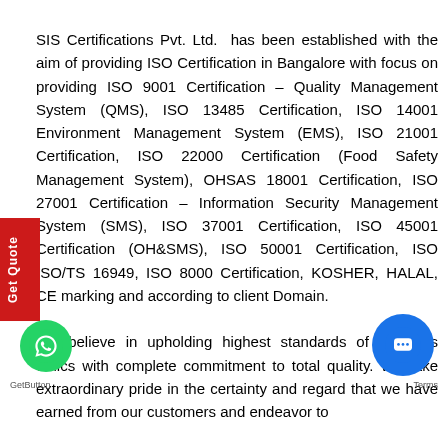SIS Certifications Pvt. Ltd.  has been established with the aim of providing ISO Certification in Bangalore with focus on providing ISO 9001 Certification – Quality Management System (QMS), ISO 13485 Certification, ISO 14001 Environment Management System (EMS), ISO 21001 Certification, ISO 22000 Certification (Food Safety Management System), OHSAS 18001 Certification, ISO 27001 Certification – Information Security Management System (SMS), ISO 37001 Certification, ISO 45001 Certification (OH&SMS), ISO 50001 Certification, ISO ISO/TS 16949, ISO 8000 Certification, KOSHER, HALAL, CE marking and according to client Domain.
We believe in upholding highest standards of business ethics with complete commitment to total quality. We take extraordinary pride in the certainty and regard that we have earned from our customers and endeavor to